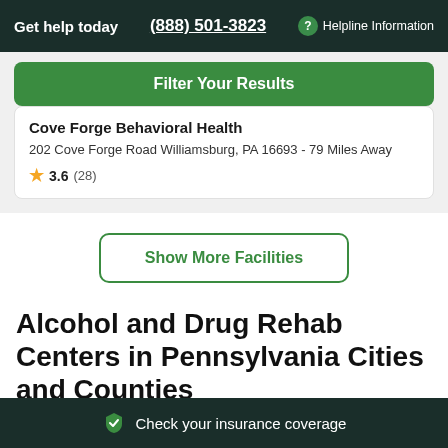Get help today  (888) 501-3823  ? Helpline Information
Filter Your Results
Cove Forge Behavioral Health
202 Cove Forge Road Williamsburg, PA 16693  -  79 Miles Away
3.6 (28)
Show More Facilities
Alcohol and Drug Rehab Centers in Pennsylvania Cities and Counties
Check your insurance coverage